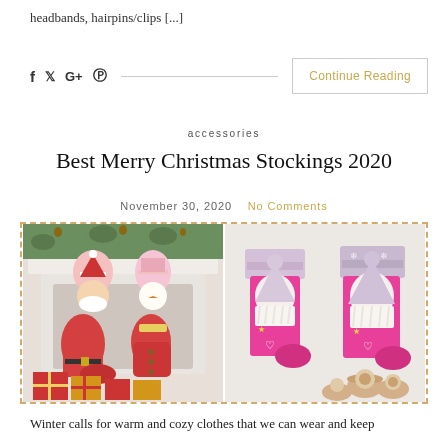headbands, hairpins/clips [...]
[Figure (other): Social media share icons: Facebook (f), Twitter (bird), Google+ (G+), Pinterest (P) with a horizontal line and Continue Reading button]
accessories
Best Merry Christmas Stockings 2020
November 30, 2020   No Comments
[Figure (photo): Two side-by-side photos of Christmas stockings. Left: Santa Claus and snowman character stockings hung on a white fireplace mantel decorated with garland, with wrapped gifts below. Right: Pink gnome/elf character Christmas stockings with glittery tops and pom-pom decorations.]
Winter calls for warm and cozy clothes that we can wear and keep